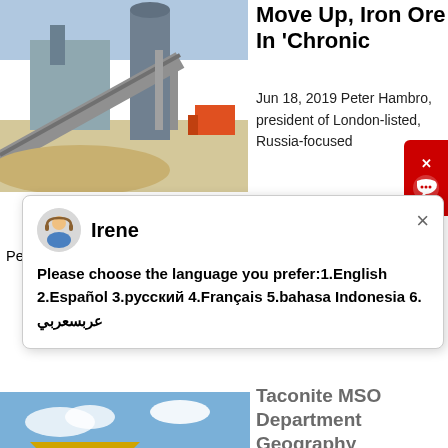[Figure (photo): Industrial mining/processing facility with conveyor belt and machinery]
Move Up, Iron Ore In 'Chronic
Jun 18, 2019 Peter Hambro, president of London-listed, Russia-focused Petropavlovsk and chairman of Hong Kong-listed IRC Ltd., ta...
[Figure (screenshot): Chat popup with agent Irene asking language preference: 1.English 2.Español 3.русский 4.Français 5.bahasa Indonesia 6. عربسعربي]
[Figure (photo): Yellow mining crusher machine on rocky terrain]
Taconite MSO Department Geography
IRON ORE / TACONITE SHIPPING. All of the iron ore that is mined
in the UP of Michigan and in northern Minnesota is moved out of